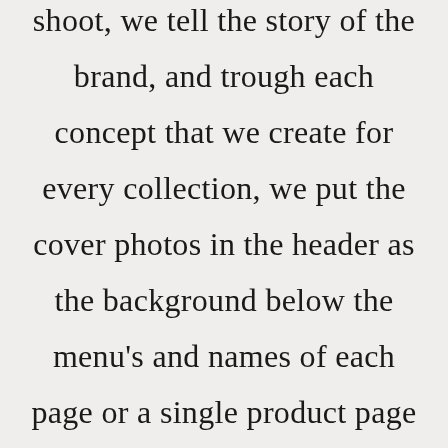shoot, we tell the story of the brand, and trough each concept that we create for every collection, we put the cover photos in the header as the background below the menu's and names of each page or a single product page elements. Also, we use vary interesting